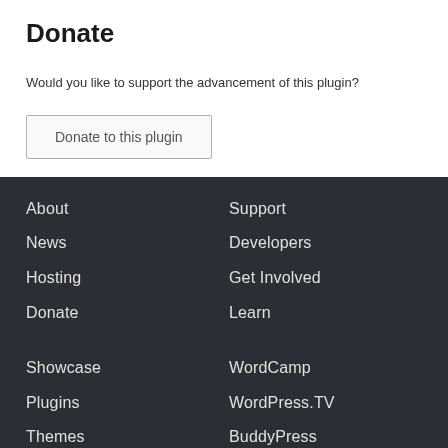Donate
Would you like to support the advancement of this plugin?
Donate to this plugin
About
Support
News
Developers
Hosting
Get Involved
Donate
Learn
Showcase
WordCamp
Plugins
WordPress.TV
Themes
BuddyPress